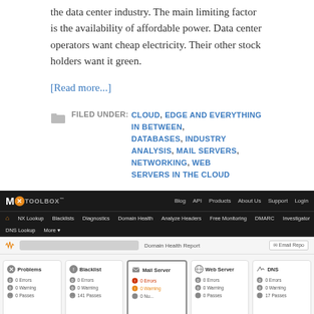the data center industry. The main limiting factor is the availability of affordable power. Data center operators want cheap electricity. Their other stock holders want it green.
[Read more...]
FILED UNDER: CLOUD, EDGE AND EVERYTHING IN BETWEEN, DATABASES, INDUSTRY ANALYSIS, MAIL SERVERS, NETWORKING, WEB SERVERS IN THE CLOUD
[Figure (screenshot): MX Toolbox website screenshot showing navigation bar with MX Lookup, Blacklists, Diagnostics, Domain Health, Analyze Headers, Free Monitoring, DMARC, Investigator, DNS Lookup menus, and a Domain Health Report interface with dashboard cards for Problems, Blacklist, Mail Server, Web Server, and DNS showing errors and warnings counts.]